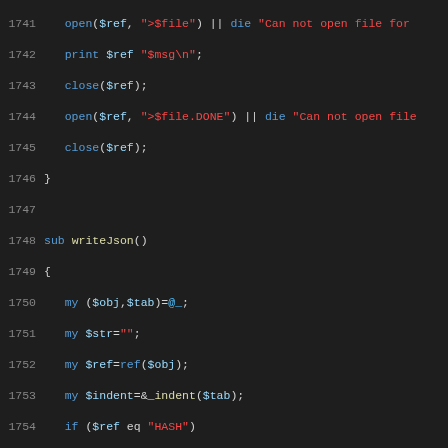Perl source code lines 1741-1770 showing file operations and writeJson subroutine